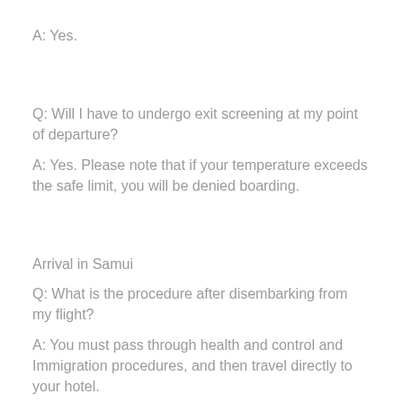A: Yes.
Q: Will I have to undergo exit screening at my point of departure?
A: Yes. Please note that if your temperature exceeds the safe limit, you will be denied boarding.
Arrival in Samui
Q: What is the procedure after disembarking from my flight?
A: You must pass through health and control and Immigration procedures, and then travel directly to your hotel.
Q: After I clear health control and Immigration, do I